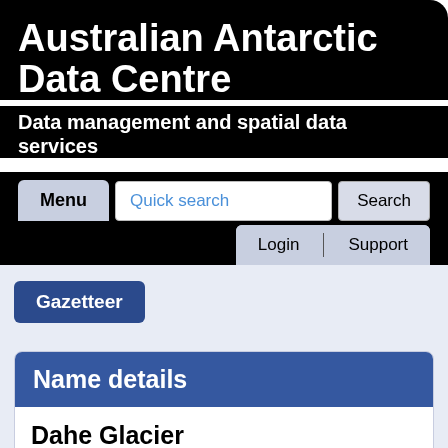Australian Antarctic Data Centre
Data management and spatial data services
[Figure (screenshot): Navigation bar with Menu button, Quick search input field, Search button, Login and Support buttons]
Gazetteer
Name details
Dahe Glacier
Dahe Glacier (The name as it would appear in a gazetteer)